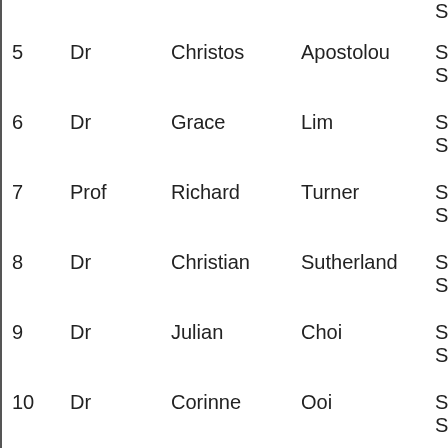| # | Title | First Name | Last Name | Role |
| --- | --- | --- | --- | --- |
|  |  |  |  | Sup |
| 5 | Dr | Christos | Apostolou | SET |
|  |  |  |  | Sup |
| 6 | Dr | Grace | Lim | SET |
|  |  |  |  | Sup |
| 7 | Prof | Richard | Turner | SET |
|  |  |  |  | Sup |
| 8 | Dr | Christian | Sutherland | SET |
|  |  |  |  | Sup |
| 9 | Dr | Julian | Choi | SET |
|  |  |  |  | Sup |
| 10 | Dr | Corinne | Ooi | SET |
|  |  |  |  | Sup |